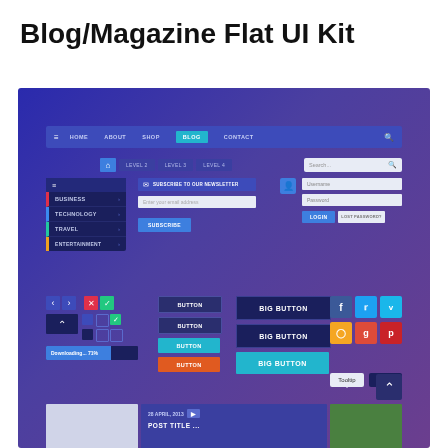Blog/Magazine Flat UI Kit
[Figure (screenshot): Screenshot of a Blog/Magazine Flat UI Kit showing navigation bars, breadcrumbs, sidebar menu with Business/Technology/Travel/Entertainment items, newsletter subscription form, login form with username/password fields, UI control buttons in various colors, social media icons (Facebook, Twitter, Vimeo, RSS, Google+, Pinterest), tooltips, progress bar, and a bottom content preview strip with article thumbnails.]